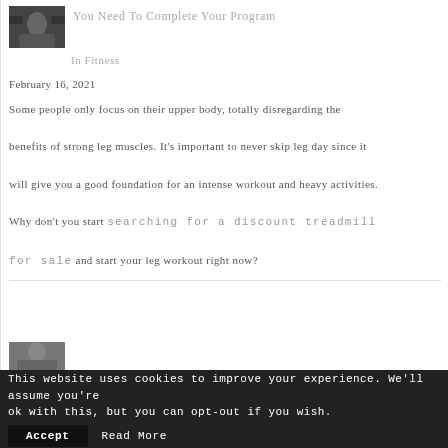[Figure (photo): Thumbnail photo of a person exercising, likely weight training]
You Need To Complete Your Program
In Fitness
February 16, 2021
Some people only focus on their upper body, totally disregarding the benefits of strong leg muscles. It's important to never skip leg day since it will give you a good foundation for an intense workout and heavy activities.
Why don't you start searching for a discount treadmill for sale and start your leg workout right now?
[Figure (photo): Thumbnail photo partially visible at the bottom of the page]
This website uses cookies to improve your experience. We'll assume you're ok with this, but you can opt-out if you wish.
Accept
Read More